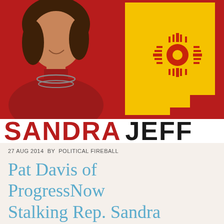[Figure (photo): Banner image showing a Native American woman in red clothing with silver jewelry on a red background (left), and the New Mexico state flag shape in yellow with the Zia sun symbol in dark red (right).]
SANDRA JEFF
27 AUG 2014 BY POLITICAL FIREBALL
Pat Davis of ProgressNow Stalking Rep. Sandra Jeff?